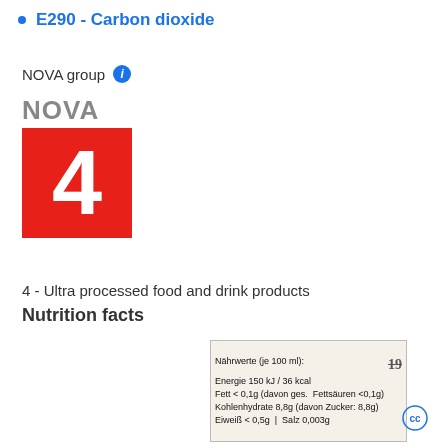E290 - Carbon dioxide
NOVA group  ℹ
[Figure (infographic): NOVA group 4 red square badge with large white number 4 and grey NOVA text above]
4 - Ultra processed food and drink products
Nutrition facts
[Figure (photo): Photo of a nutrition label in German: Nährwerte (je 100 ml): Energie 150 kJ / 36 kcal, Fett < 0,1g (davon ges. Fettsäuren <0,1g), Kohlenhydrate 8,8g (davon Zucker: 8,8g), Eiweiß < 0,5g | Salz 0,003g]
CC (Creative Commons icon)